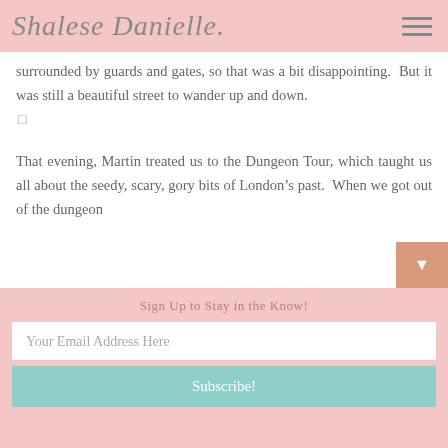Shalese Danielle
surrounded by guards and gates, so that was a bit disappointing. But it was still a beautiful street to wander up and down.
That evening, Martin treated us to the Dungeon Tour, which taught us all about the seedy, scary, gory bits of London’s past. When we got out of the dungeon
Sign Up to Stay in the Know!
Your Email Address Here
Subscribe!